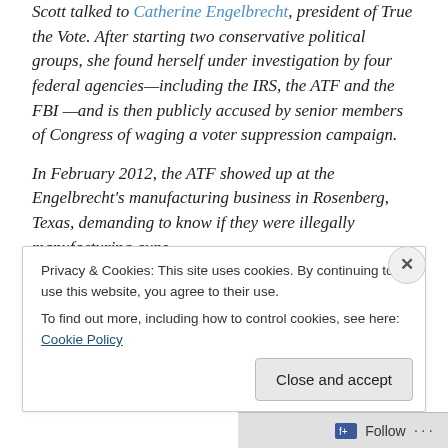Scott talked to Catherine Engelbrecht, president of True the Vote. After starting two conservative political groups, she found herself under investigation by four federal agencies—including the IRS, the ATF and the FBI —and is then publicly accused by senior members of Congress of waging a voter suppression campaign.
In February 2012, the ATF showed up at the Engelbrecht's manufacturing business in Rosenberg, Texas, demanding to know if they were illegally manufacturing guns.
Engelbrecht told Scott she believes the government was
Privacy & Cookies: This site uses cookies. By continuing to use this website, you agree to their use.
To find out more, including how to control cookies, see here: Cookie Policy